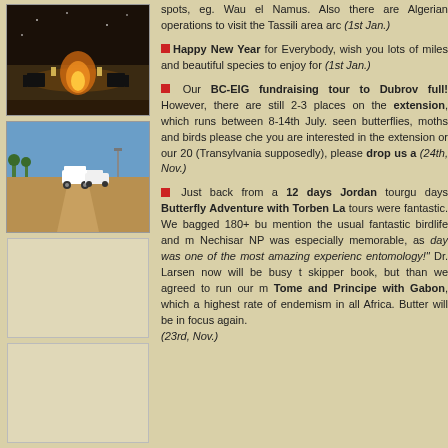[Figure (photo): Photo of campfire scene at night with camp chairs and lanterns]
[Figure (photo): Photo of white SUVs parked on a red dirt road in arid landscape]
[Figure (photo): Blank/empty image placeholder]
[Figure (photo): Blank/empty image placeholder]
[Figure (photo): Blank/empty image placeholder]
spots, eg. Wau el Namus. Also there are Algerian operations to visit the Tassili area arc (1st Jan.)
Happy New Year for Everybody, wish you lots of miles and beautiful species to enjoy for (1st Jan.)
Our BC-EIG fundraising tour to Dubrov full! However, there are still 2-3 places on th extension, which runs between 8-14th July. seen butterflies, moths and birds please che you are interested in the extension or our 20 (Transylvania supposedly), please drop us a (24th, Nov.)
Just back from a 12 days Jordan tourgu days Butterfly Adventure with Torben La tours were fantastic. We bagged 180+ bu mention the usual fantastic birdlife and m Nechisar NP was especially memorable, as day was one of the most amazing experienc entomology! Dr. Larsen now will be busy t skipper book, but than we agreed to run our m Tome and Principe with Gabon, which a highest rate of endemism in all Africa. Butter will be in focus again. (23rd, Nov.)